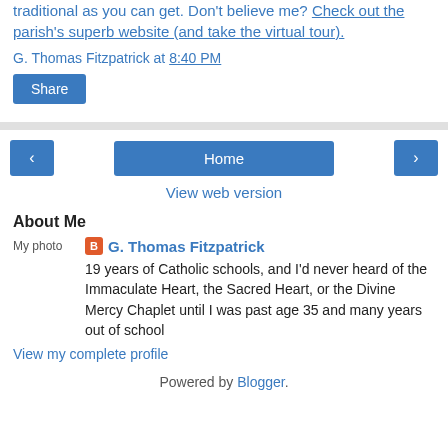traditional as you can get. Don't believe me? Check out the parish's superb website (and take the virtual tour).
G. Thomas Fitzpatrick at 8:40 PM
Share
[Figure (screenshot): Navigation buttons: left arrow, Home, right arrow]
View web version
About Me
[Figure (photo): My photo placeholder image]
G. Thomas Fitzpatrick
19 years of Catholic schools, and I'd never heard of the Immaculate Heart, the Sacred Heart, or the Divine Mercy Chaplet until I was past age 35 and many years out of school
View my complete profile
Powered by Blogger.